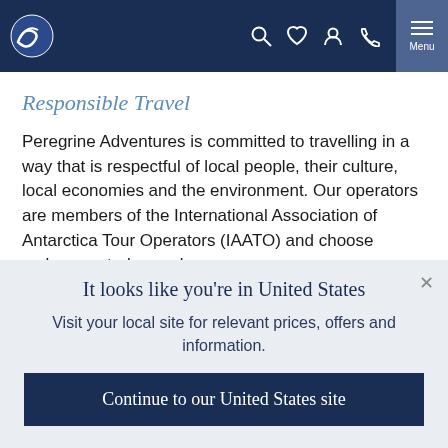[Figure (screenshot): Website navigation header bar with dark navy background, Peregrine Adventures wave logo on the left, search/heart/user/phone icons in the center-right, and a Menu button on the far right]
Responsible Travel
Peregrine Adventures is committed to travelling in a way that is respectful of local people, their culture, local economies and the environment. Our operators are members of the International Association of Antarctica Tour Operators (IAATO) and choose carbon neutral vessels.
It looks like you're in United States
Visit your local site for relevant prices, offers and information.
Continue to our United States site